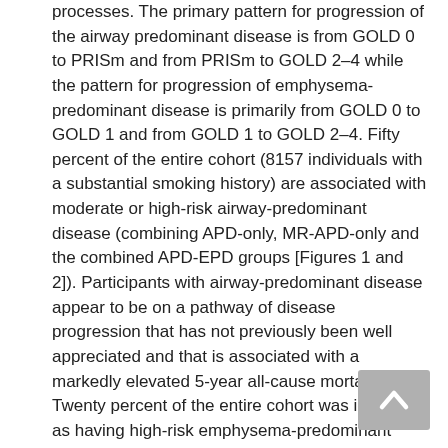processes. The primary pattern for progression of the airway predominant disease is from GOLD 0 to PRISm and from PRISm to GOLD 2–4 while the pattern for progression of emphysema-predominant disease is primarily from GOLD 0 to GOLD 1 and from GOLD 1 to GOLD 2–4. Fifty percent of the entire cohort (8157 individuals with a substantial smoking history) are associated with moderate or high-risk airway-predominant disease (combining APD-only, MR-APD-only and the combined APD-EPD groups [Figures 1 and 2]). Participants with airway-predominant disease appear to be on a pathway of disease progression that has not previously been well appreciated and that is associated with a markedly elevated 5-year all-cause mortality. Twenty percent of the entire cohort was identified as having high-risk emphysema-predominant disease (Figures 1 and 2) with a different pattern of disease progression and who also show a significant elevation in 5-year all-cause mortality. Identification of these 2 distinct patterns of COPD progression offer opportunities to identify participants for